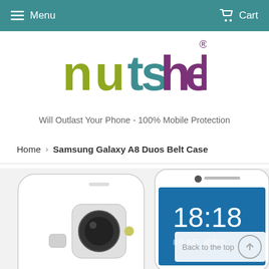Menu   Cart
[Figure (logo): Nutshell logo — stylized lowercase letters in olive green, teal, and purple]
Will Outlast Your Phone - 100% Mobile Protection
Home › Samsung Galaxy A8 Duos Belt Case
[Figure (photo): Two Samsung Galaxy A8 Duos smartphones — one showing back (white), one showing front with lock screen displaying 18:18]